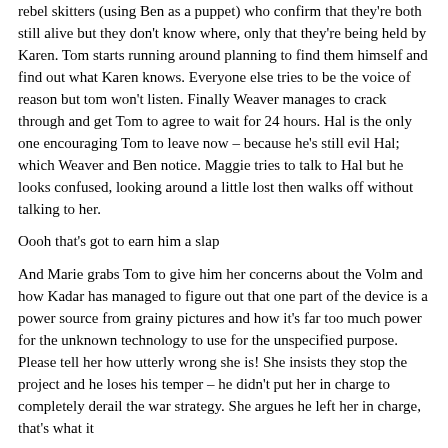rebel skitters (using Ben as a puppet) who confirm that they're both still alive but they don't know where, only that they're being held by Karen. Tom starts running around planning to find them himself and find out what Karen knows. Everyone else tries to be the voice of reason but tom won't listen. Finally Weaver manages to crack through and get Tom to agree to wait for 24 hours. Hal is the only one encouraging Tom to leave now – because he's still evil Hal; which Weaver and Ben notice. Maggie tries to talk to Hal but he looks confused, looking around a little lost then walks off without talking to her.
Oooh that's got to earn him a slap
And Marie grabs Tom to give him her concerns about the Volm and how Kadar has managed to figure out that one part of the device is a power source from grainy pictures and how it's far too much power for the unknown technology to use for the unspecified purpose.  Please tell her how utterly wrong she is! She insists they stop the project and he loses his temper – he didn't put her in charge to completely derail the war strategy. She argues he left her in charge, that's what it means and then some text probably about how annoying